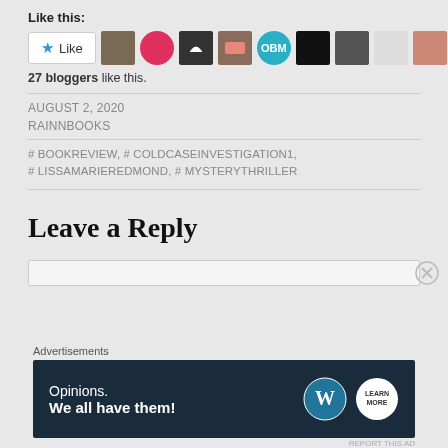Like this:
[Figure (other): Like button with star icon and row of blogger avatar thumbnails]
27 bloggers like this.
AUGUST 2, 2020
RAINNBOOKS
# BOOKREVIEW, # COLDCASEINVESTIGATION1, # LISSAMARIEREDMOND, # MYSTERYTHRILLER
Leave a Reply
[Figure (screenshot): Advertisements banner: Opinions. We all have them! with WordPress logo]
REPORT THIS AD